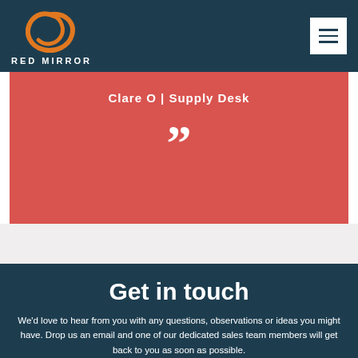[Figure (logo): Red Mirror logo — orange circular brushstroke mark above text RED MIRROR in white bold letters on dark teal background]
Clare O  |  Supply Desk
[Figure (illustration): Closing double quotation mark in white on red background]
Get in touch
We'd love to hear from you with any questions, observations or ideas you might have. Drop us an email and one of our dedicated sales team members will get back to you as soon as possible.
hello@red-mirror.com